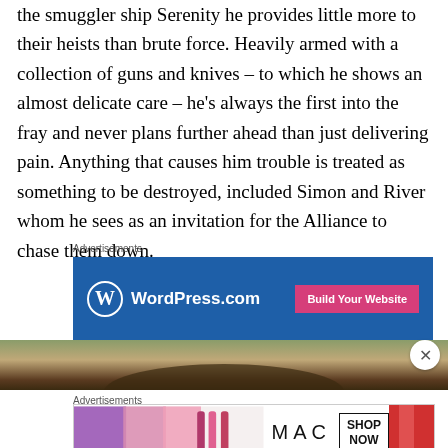the smuggler ship Serenity he provides little more to their heists than brute force. Heavily armed with a collection of guns and knives – to which he shows an almost delicate care – he's always the first into the fray and never plans further ahead than just delivering pain. Anything that causes him trouble is treated as something to be destroyed, included Simon and River whom he sees as an invitation for the Alliance to chase them down.
Advertisements
[Figure (screenshot): WordPress.com advertisement banner with blue background, WordPress logo, text 'WordPress.com', and a pink 'Build Your Website' button]
[Figure (photo): Partial photo showing top of a person's head outdoors with green/brown background]
Advertisements
[Figure (screenshot): MAC cosmetics advertisement showing colorful lipsticks, MAC logo script text, and a 'SHOP NOW' box]